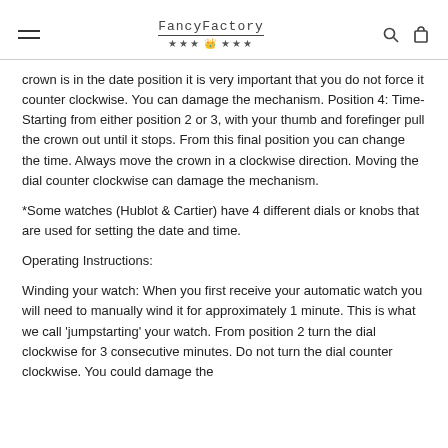FancyFactory
crown is in the date position it is very important that you do not force it counter clockwise. You can damage the mechanism. Position 4: Time- Starting from either position 2 or 3, with your thumb and forefinger pull the crown out until it stops. From this final position you can change the time. Always move the crown in a clockwise direction. Moving the dial counter clockwise can damage the mechanism.
*Some watches (Hublot & Cartier) have 4 different dials or knobs that are used for setting the date and time.
Operating Instructions:
Winding your watch: When you first receive your automatic watch you will need to manually wind it for approximately 1 minute. This is what we call ‘jumpstarting’ your watch. From position 2 turn the dial clockwise for 3 consecutive minutes. Do not turn the dial counter clockwise. You could damage the